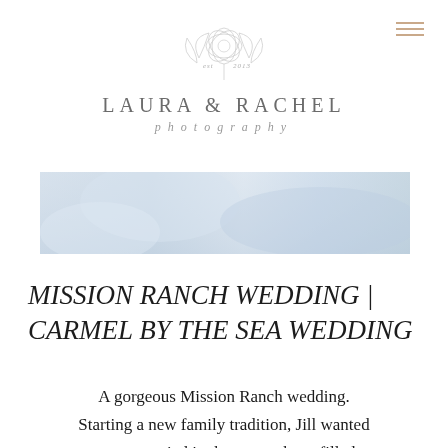[Figure (logo): Laura & Rachel Photography logo with floral illustration, 'est 2013' text, brand name and photography tagline]
[Figure (photo): A soft, light blue blurred wedding photo hero image — appears to show fabric or veil in pastel tones]
MISSION RANCH WEDDING | CARMEL BY THE SEA WEDDING
A gorgeous Mission Ranch wedding. Starting a new family tradition, Jill wanted to get married in the green sheep filled